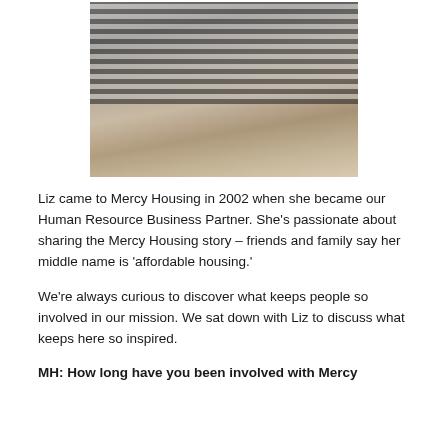[Figure (photo): Woman seated wearing striped long-sleeve shirt under a gray quilted vest, with a long necklace and bracelet, hands folded in lap.]
Liz came to Mercy Housing in 2002 when she became our Human Resource Business Partner. She’s passionate about sharing the Mercy Housing story – friends and family say her middle name is ‘affordable housing.’
We’re always curious to discover what keeps people so involved in our mission. We sat down with Liz to discuss what keeps here so inspired.
MH: How long have you been involved with Mercy